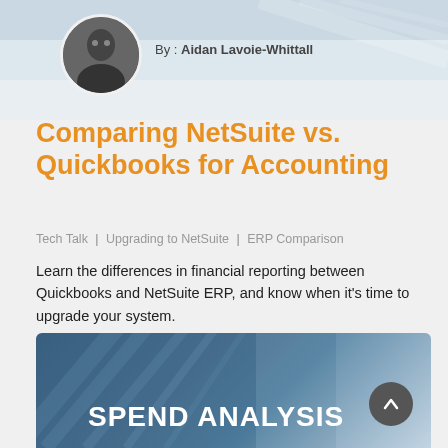[Figure (photo): Top banner with blurred background, circular portrait photo of author on left]
By : Aidan Lavoie-Whittall
Comparing NetSuite vs. Quickbooks for Accounting
Tech Talk | Upgrading to NetSuite | ERP Comparison
Learn the differences in financial reporting between Quickbooks and NetSuite ERP, and know when it's time to upgrade your system.
...
Read This Post
[Figure (photo): Bottom banner image with blue diagonal lines overlay and text SPEND ANALYSIS, with scroll-to-top button]